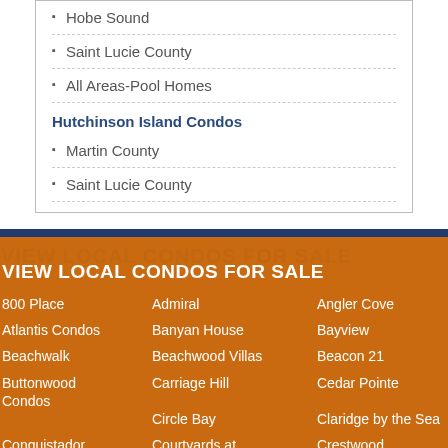Hobe Sound
Saint Lucie County
All Areas-Pool Homes
Hutchinson Island Condos
Martin County
Saint Lucie County
VIEW LOCAL CONDOS FOR SALE
800 Place
Admiral
Angler Cove
Atlantis Condos
Banyan House
Bayview
Beachwalk
Beachwood Villas
Beacon 21
Buttonwood Condos
Carriage Hill
Cedar Pointe
Circle Bay
Claridge by the Sea
Conquistador Condos
Courtyards at Willoughby
Crestwood Townhome Condos
de la Bahia
Dune Condominium
Dune Walk